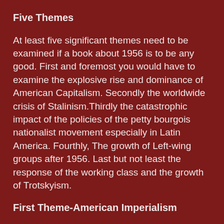Five Themes
At least five significant themes need to be examined if a book about 1956 is to be any good. First and foremost you would have to examine the explosive rise and dominance of American Capitalism. Secondly the worldwide crisis of Stalinism.Thirdly the catastrophic impact of the policies of the petty bourgois nationalist movement especially in Latin America. Fourthly, The growth of Left-wing groups after 1956. Last but not least the response of the working class and the growth of Trotskyism.
First Theme-American Imperialism
Hall opens the book with the firebomb attack on Martin Luther King. Hall’s writing on the explosive Civil rights protest is separated from the very explosive rise of American capitalism.The events of 1956 were a confirmation of Leon